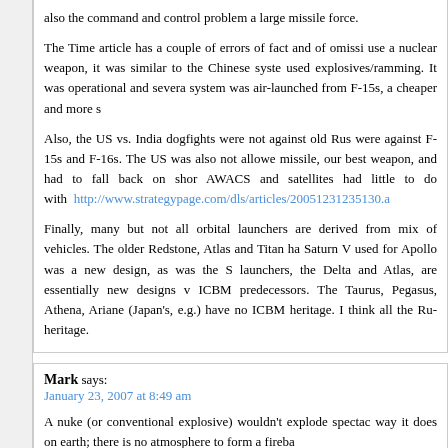also the command and control problem a large missile force.
The Time article has a couple of errors of fact and of omission. use a nuclear weapon, it was similar to the Chinese system. used explosives/ramming. It was operational and several. system was air-launched from F-15s, a cheaper and more s.
Also, the US vs. India dogfights were not against old Rus. were against F-15s and F-16s. The US was also not allowed. missile, our best weapon, and had to fall back on shor. AWACS and satellites had little to do with http://www.strategypage.com/dls/articles/20051231235130.a
Finally, many but not all orbital launchers are derived from. mix of vehicles. The older Redstone, Atlas and Titan ha. Saturn V used for Apollo was a new design, as was the S. launchers, the Delta and Atlas, are essentially new designs v. ICBM predecessors. The Taurus, Pegasus, Athena, Ariane. (Japan's, e.g.) have no ICBM heritage. I think all the Ru. heritage.
Mark says:
January 23, 2007 at 8:49 am
A nuke (or conventional explosive) wouldn't explode spectac. way it does on earth; there is no atmosphere to form a fireba.
The main effect of a nuke would be the EMP which would c. but also all of the electronic equipment on the earth below t.